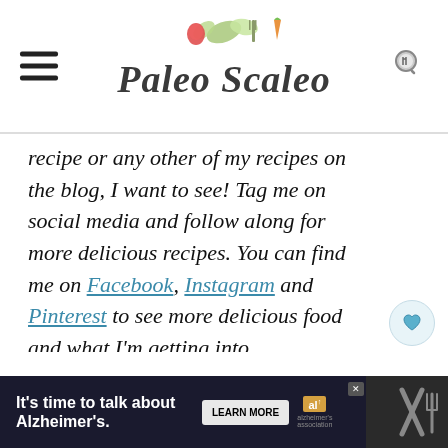[Figure (logo): Paleo Scaleo blog logo with illustrated vegetables, fork and knife]
recipe or any other of my recipes on the blog, I want to see! Tag me on social media and follow along for more delicious recipes. You can find me on Facebook, Instagram and Pinterest to see more delicious food and what I'm getting into.
[Figure (infographic): Social sharing sidebar with heart icon, 382 likes count, and share icon]
[Figure (infographic): What's Next panel showing a bowl of cranberries with text 'WHAT'S NEXT → Paleo Cranberry...']
[Figure (infographic): Bottom advertisement bar: It's time to talk about Alzheimer's. Learn More button, Alzheimer's Association logo, close button, and decorative icons on right]